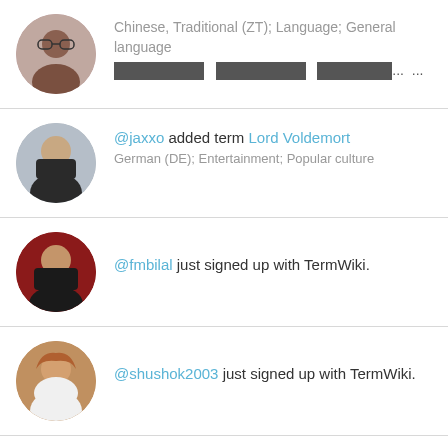[User avatar] Chinese, Traditional (ZT); Language; General language [Chinese characters]... ...
@jaxxo added term Lord Voldemort German (DE); Entertainment; Popular culture
@fmbilal just signed up with TermWiki.
@shushok2003 just signed up with TermWiki.
@Sarah Marks just signed up with TermWiki.